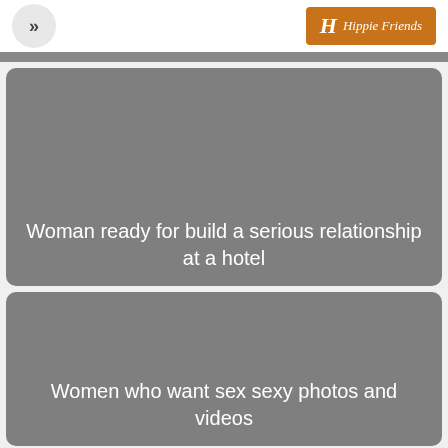[Figure (logo): Navigation chevron button and orange logo badge with H and cursive Hippie Friends text]
Woman ready for build a serious relationship at a hotel
Women who want sex sexy photos and videos